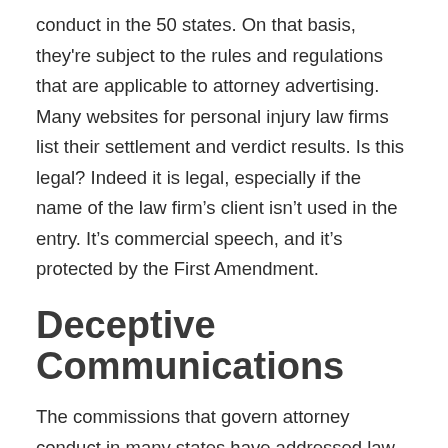conduct in the 50 states. On that basis, they're subject to the rules and regulations that are applicable to attorney advertising. Many websites for personal injury law firms list their settlement and verdict results. Is this legal? Indeed it is legal, especially if the name of the law firm's client isn't used in the entry. It's commercial speech, and it's protected by the First Amendment.
Deceptive Communications
The commissions that govern attorney conduct in many states have addressed law firm listings of